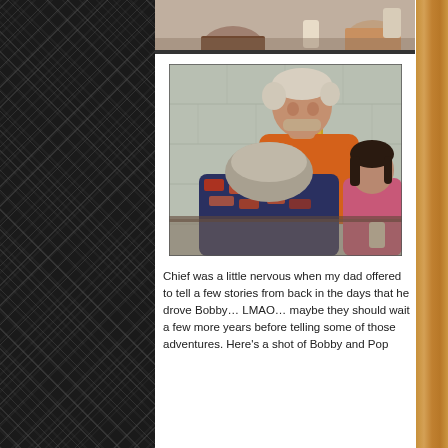[Figure (photo): Partial top photo showing people at a gathering, cropped at the top]
[Figure (photo): A man in an orange shirt standing and leaning over, with a woman in a pink shirt seated to the right and another person with gray hair in the foreground, at an indoor gathering]
Chief was a little nervous when my dad offered to tell a few stories from back in the days that he drove Bobby… LMAO… maybe they should wait a few more years before telling some of those adventures. Here's a shot of Bobby and Pop